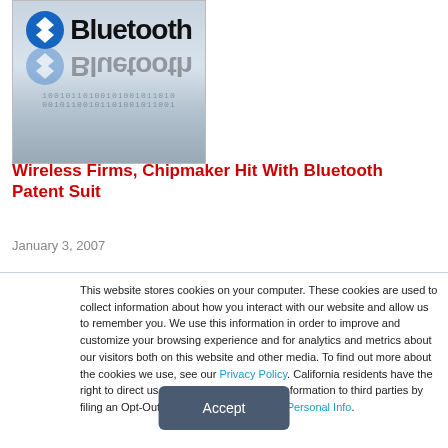[Figure (logo): Bluetooth logo with blue-white diamond icon and 'Bluetooth' text, with reflection and binary code pattern below, on a silver/gray gradient background]
Wireless Firms, Chipmaker Hit With Bluetooth Patent Suit
January 3, 2007
This website stores cookies on your computer. These cookies are used to collect information about how you interact with our website and allow us to remember you. We use this information in order to improve and customize your browsing experience and for analytics and metrics about our visitors both on this website and other media. To find out more about the cookies we use, see our Privacy Policy. California residents have the right to direct us not to sell their personal information to third parties by filing an Opt-Out Request: Do Not Sell My Personal Info.